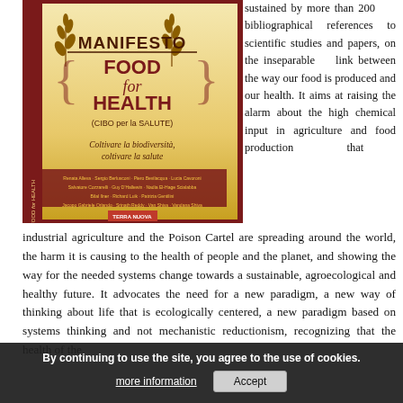[Figure (illustration): Book cover of 'Manifesto FOOD for HEALTH (CIBO per la SALUTE)' with subtitle 'Coltivare la biodiversità, coltivare la salute', published by Terra Nuova, with wheat stalk decorations and a golden/cream gradient background within a dark red border. Multiple author names listed.]
sustained by more than 200 bibliographical references to scientific studies and papers, on the inseparable link between the way our food is produced and our health. It aims at raising the alarm about the high chemical input in agriculture and food production that industrial agriculture and the Poison Cartel are spreading around the world, the harm it is causing to the health of people and the planet, and showing the way for the needed systems change towards a sustainable, agroecological and healthy future. It advocates the need for a new paradigm, a new way of thinking about life that is ecologically centered, a new paradigm based on systems thinking and not mechanistic reductionism, recognizing that the health of the
By continuing to use the site, you agree to the use of cookies.
more information    Accept